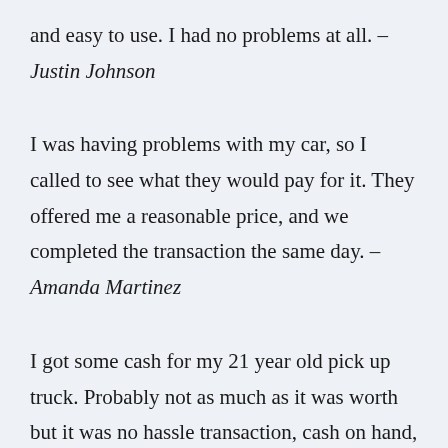and easy to use. I had no problems at all. – Justin Johnson
I was having problems with my car, so I called to see what they would pay for it. They offered me a reasonable price, and we completed the transaction the same day. – Amanda Martinez
I got some cash for my 21 year old pick up truck. Probably not as much as it was worth but it was no hassle transaction, cash on hand, fast and easy. – George Bryant